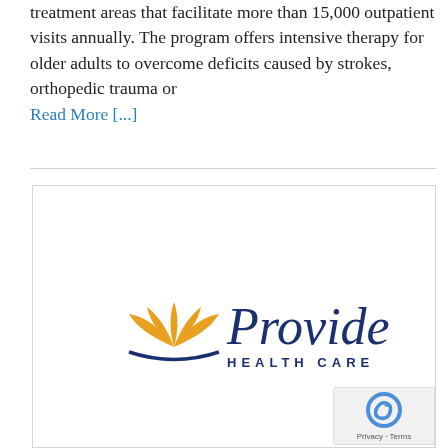treatment areas that facilitate more than 15,000 outpatient visits annually. The program offers intensive therapy for older adults to overcome deficits caused by strokes, orthopedic trauma or Read More [...]
[Figure (logo): Providence Health Care logo — a lotus/flame icon in orange/gold beside the word 'Providence' in dark navy italic script, with 'HEALTH CARE' in small caps below]